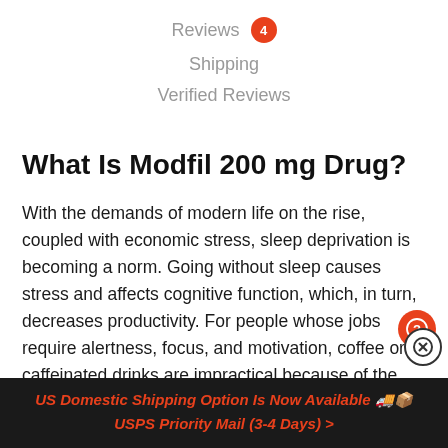Reviews 4
Shipping
Verified Reviews
What Is Modfil 200 mg Drug?
With the demands of modern life on the rise, coupled with economic stress, sleep deprivation is becoming a norm. Going without sleep causes stress and affects cognitive function, which, in turn, decreases productivity. For people whose jobs require alertness, focus, and motivation, coffee or caffeinated drinks are impractical because of the
US Domestic Shipping Option Is Now Available 🚚📦 USPS Priority Mail (3-4 Days) >